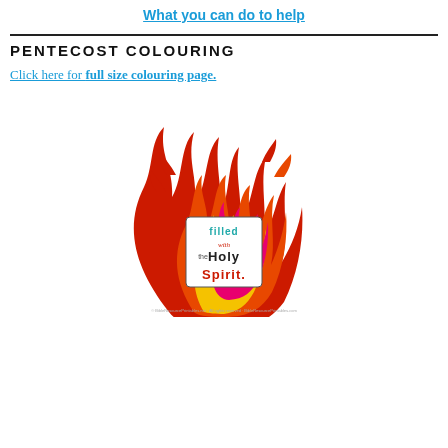What you can do to help
PENTECOST COLOURING
Click here for full size colouring page.
[Figure (illustration): Flame illustration with text 'Filled with the Holy Spirit' in colorful lettering surrounded by red, orange, yellow, and pink flames]